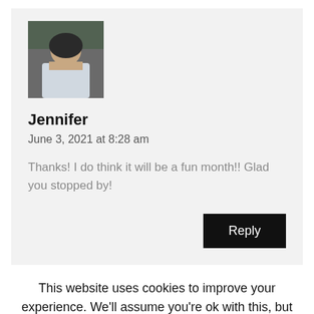[Figure (photo): Small square avatar photo of a person sitting in a car, appearing to be a woman with dark hair.]
Jennifer
June 3, 2021 at 8:28 am
Thanks! I do think it will be a fun month!! Glad you stopped by!
Reply
This website uses cookies to improve your experience. We'll assume you're ok with this, but you can opt-out if you wish.
Accept
Read More